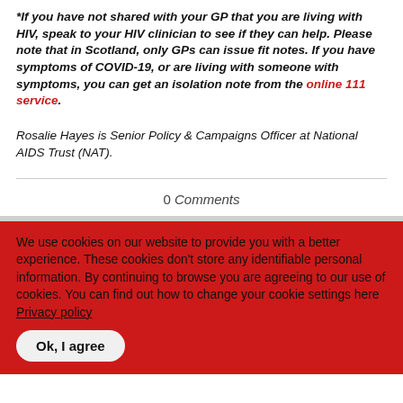*If you have not shared with your GP that you are living with HIV, speak to your HIV clinician to see if they can help. Please note that in Scotland, only GPs can issue fit notes. If you have symptoms of COVID-19, or are living with someone with symptoms, you can get an isolation note from the online 111 service.
Rosalie Hayes is Senior Policy & Campaigns Officer at National AIDS Trust (NAT).
0 Comments
We use cookies on our website to provide you with a better experience. These cookies don't store any identifiable personal information. By continuing to browse you are agreeing to our use of cookies. You can find out how to change your cookie settings here Privacy policy